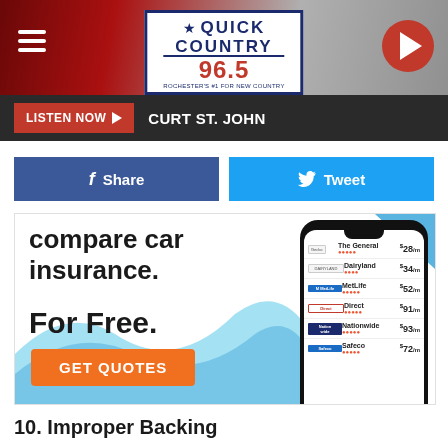Quick Country 96.5 — LISTEN NOW — CURT ST. JOHN
[Figure (screenshot): Quick Country 96.5 radio station header banner with hamburger menu, logo, and play button]
LISTEN NOW ▶  CURT ST. JOHN
[Figure (infographic): Facebook Share button and Twitter Tweet button row]
[Figure (infographic): Car insurance comparison advertisement: compare car insurance. For Free. GET QUOTES — showing phone mockup with insurance company price listings: The General $28/m, Dairyland $34/m, MetLife $52/m, Direct $91/m, Nationwide $93/m, Safeco $72/m]
10. Improper Backing